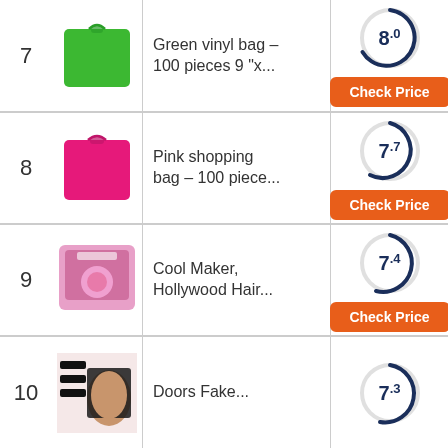7 - Green vinyl bag – 100 pieces 9 "x... - Score: 8.0
8 - Pink shopping bag – 100 piece... - Score: 7.7
9 - Cool Maker, Hollywood Hair... - Score: 7.4
10 - Doors Fake... - Score: 7.3